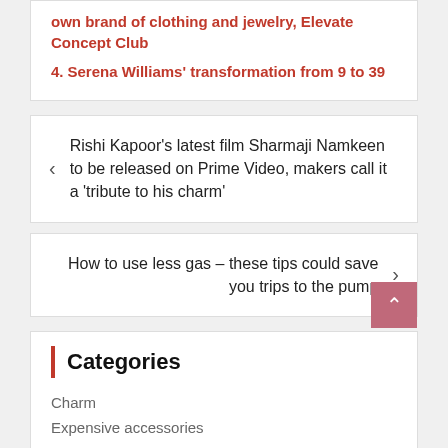own brand of clothing and jewelry, Elevate Concept Club
4. Serena Williams' transformation from 9 to 39
< Rishi Kapoor's latest film Sharmaji Namkeen to be released on Prime Video, makers call it a 'tribute to his charm'
How to use less gas – these tips could save you trips to the pump >
Categories
Charm
Expensive accessories